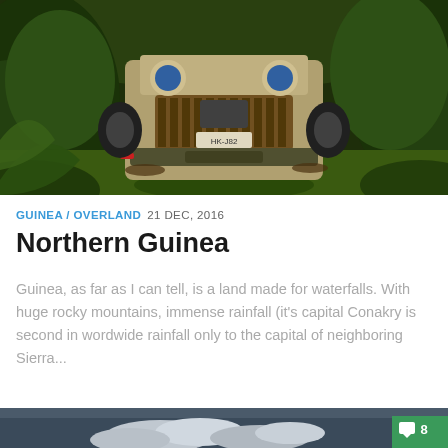[Figure (photo): Front view of a muddy Jeep Wrangler pushing through dense jungle/tropical vegetation on a dirt track, license plate HK-J82]
GUINEA / OVERLAND  21 DEC, 2016
Northern Guinea
Guinea, as far as I can tell, is a land made for waterfalls. With huge rocky mountains, immense rainfall (it's capital Conakry is second in wordwide rainfall only to the capital of neighboring Sierra...
[Figure (photo): Partial view of a cloudy sky scene — bottom section of page, with a green comment badge showing '8']